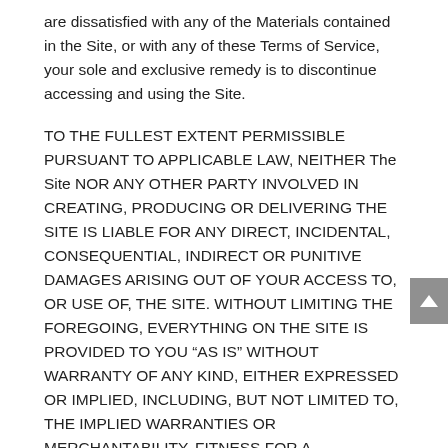are dissatisfied with any of the Materials contained in the Site, or with any of these Terms of Service, your sole and exclusive remedy is to discontinue accessing and using the Site.
TO THE FULLEST EXTENT PERMISSIBLE PURSUANT TO APPLICABLE LAW, NEITHER The Site NOR ANY OTHER PARTY INVOLVED IN CREATING, PRODUCING OR DELIVERING THE SITE IS LIABLE FOR ANY DIRECT, INCIDENTAL, CONSEQUENTIAL, INDIRECT OR PUNITIVE DAMAGES ARISING OUT OF YOUR ACCESS TO, OR USE OF, THE SITE. WITHOUT LIMITING THE FOREGOING, EVERYTHING ON THE SITE IS PROVIDED TO YOU “AS IS” WITHOUT WARRANTY OF ANY KIND, EITHER EXPRESSED OR IMPLIED, INCLUDING, BUT NOT LIMITED TO, THE IMPLIED WARRANTIES OR MERCHANTABILITY, FITNESS FOR A PARTICULAR PURPOSE, OR NON-INFRINGEMENT.
You specifically acknowledge and agree that The Site is